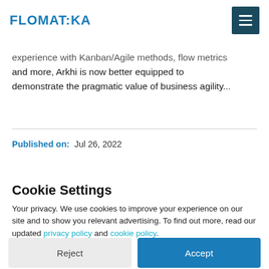FLOMATIKA
experience with Kanban/Agile methods, flow metrics and more, Arkhi is now better equipped to demonstrate the pragmatic value of business agility...
Published on:  Jul 26, 2022
Cookie Settings
Your privacy. We use cookies to improve your experience on our site and to show you relevant advertising. To find out more, read our updated privacy policy and cookie policy.